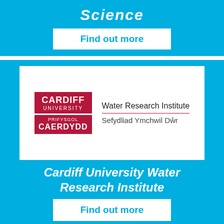Science
Find out more
[Figure (logo): Cardiff University Water Research Institute logo — Cardiff University logo in red/crimson with Welsh text 'Prifysgol Caerdydd', alongside text 'Water Research Institute / Sefydliad Ymchwil Dŵr']
Cardiff University Water Research Institute
Find out more